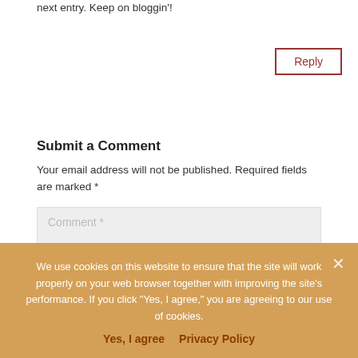next entry. Keep on bloggin'!
Reply
Submit a Comment
Your email address will not be published. Required fields are marked *
Comment *
Name *
Email *
We use cookies on this website to ensure that the site will work properly on your web browser together with improving the site's performance. If you click "Yes, I agree," you are agreeing to our use of cookies.
Yes, I agree
Privacy Policy